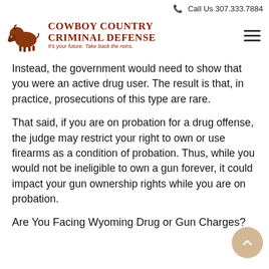Call Us 307.333.7884
[Figure (logo): Cowboy Country Criminal Defense logo with bison illustration and tagline 'It's your future. Take back the reins.']
Instead, the government would need to show that you were an active drug user. The result is that, in practice, prosecutions of this type are rare.
That said, if you are on probation for a drug offense, the judge may restrict your right to own or use firearms as a condition of probation. Thus, while you would not be ineligible to own a gun forever, it could impact your gun ownership rights while you are on probation.
Are You Facing Wyoming Drug or Gun Charges?